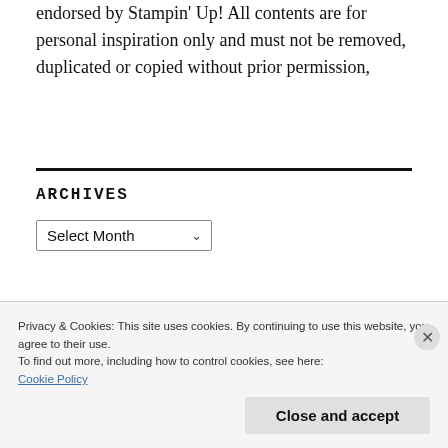endorsed by Stampin' Up! All contents are for personal inspiration only and must not be removed, duplicated or copied without prior permission,
ARCHIVES
Select Month
Privacy & Cookies: This site uses cookies. By continuing to use this website, you agree to their use.
To find out more, including how to control cookies, see here:
Cookie Policy
Close and accept